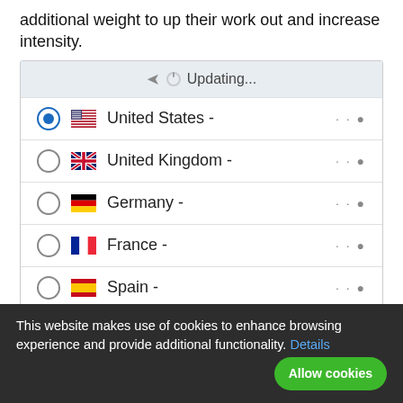additional weight to up their work out and increase intensity.
[Figure (screenshot): Country selector widget showing Updating... header row, then radio button list: United States (selected), United Kingdom, Germany, France, Spain, followed by another Updating... row and an Add to Cart button.]
This website makes use of cookies to enhance browsing experience and provide additional functionality. Details  Allow cookies